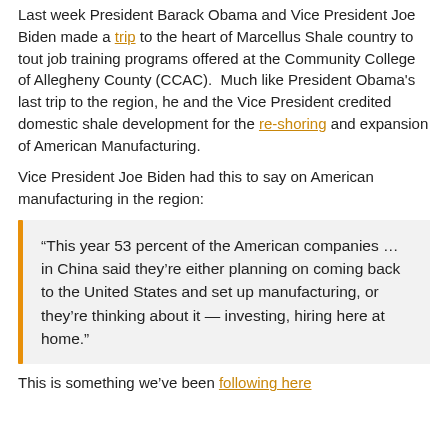Last week President Barack Obama and Vice President Joe Biden made a trip to the heart of Marcellus Shale country to tout job training programs offered at the Community College of Allegheny County (CCAC).  Much like President Obama's last trip to the region, he and the Vice President credited domestic shale development for the re-shoring and expansion of American Manufacturing.
Vice President Joe Biden had this to say on American manufacturing in the region:
“This year 53 percent of the American companies … in China said they’re either planning on coming back to the United States and set up manufacturing, or they’re thinking about it — investing, hiring here at home.”
This is something we’ve been following here